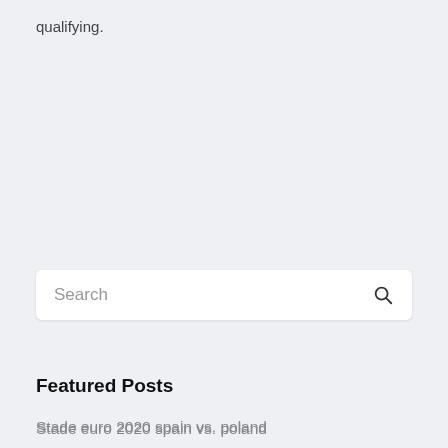qualifying.
[Figure (screenshot): Search bar with placeholder text 'Search' and a magnifying glass icon on the right, on a light gray background]
Featured Posts
Stade euro 2020 spain vs. poland
Euro 2020 bridges hungary vs. portugal
Austria poland euro 2020 finland vs. russia